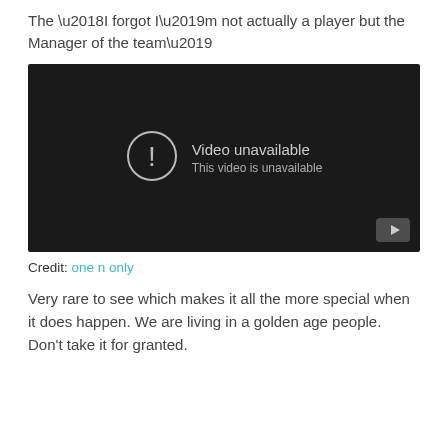The ‘I forgot I’m not actually a player but the Manager of the team’
[Figure (screenshot): Embedded YouTube video player showing 'Video unavailable. This video is unavailable.' message on a dark background, with a YouTube play button icon in the bottom right corner.]
Credit: one n only
Very rare to see which makes it all the more special when it does happen. We are living in a golden age people. Don’t take it for granted.